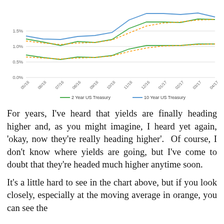[Figure (line-chart): ]
For years, I've heard that yields are finally heading higher and, as you might imagine, I heard yet again, ‘okay, now they’re really heading higher’.  Of course, I don’t know where yields are going, but I’ve come to doubt that they’re headed much higher anytime soon.
It’s a little hard to see in the chart above, but if you look closely, especially at the moving average in orange, you can see the